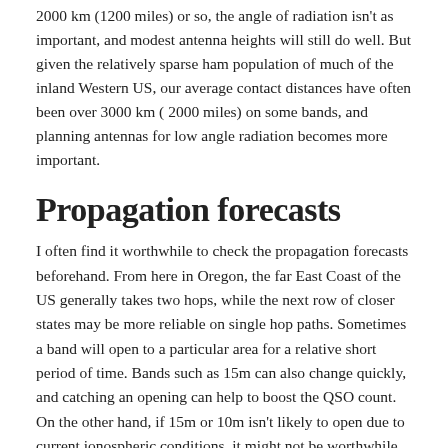2000 km (1200 miles) or so, the angle of radiation isn't as important, and modest antenna heights will still do well. But given the relatively sparse ham population of much of the inland Western US, our average contact distances have often been over 3000 km ( 2000 miles) on some bands, and planning antennas for low angle radiation becomes more important.
Propagation forecasts
I often find it worthwhile to check the propagation forecasts beforehand. From here in Oregon, the far East Coast of the US generally takes two hops, while the next row of closer states may be more reliable on single hop paths. Sometimes a band will open to a particular area for a relative short period of time. Bands such as 15m can also change quickly, and catching an opening can help to boost the QSO count. On the other hand, if 15m or 10m isn't likely to open due to current ionospheric conditions, it might not be worthwhile installing antennas for that band,